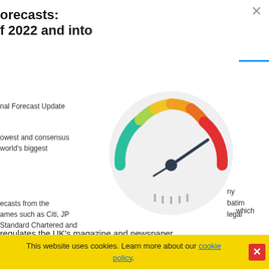forecasts: f 2022 and into
nal Forecast Update
owest and consensus world's biggest
[Figure (infographic): A speedometer/gauge illustration with a semicircular dial showing green on the left, yellow-orange in the middle, and red on the right. The needle points toward the red zone on the right side. There are tick marks at the bottom center of the dial. The gauge has a light grey circular background.]
ecasts from the ames such as Citi, JP Standard Chartered and
ny batim legal
more
which regulates the UK's magazine and newspaper
This website uses cookies. Learn more about our cookie policy.